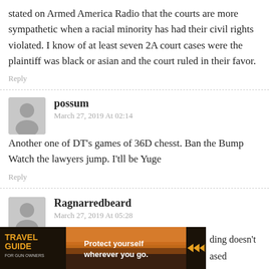stated on Armed America Radio that the courts are more sympathetic when a racial minority has had their civil rights violated. I know of at least seven 2A court cases were the plaintiff was black or asian and the court ruled in their favor.
Reply
possum
March 27, 2019 At 02:14
Another one of DT's games of 36D chesst. Ban the Bump Watch the lawyers jump. I'tll be Yuge
Reply
Ragnarredbeard
March 27, 2019 At 05:28
ding doesn't ased
[Figure (photo): Travel Guide for Gun Owners advertisement banner: 'Protect yourself wherever you go.' with US LawShield branding]